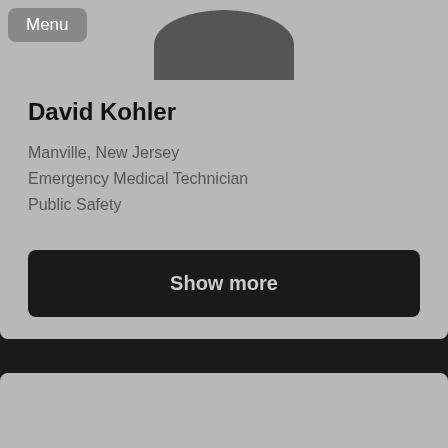[Figure (photo): Profile avatar silhouette — dark gray rounded shape on light gray background with Menu button overlay]
Menu
David Kohler
Manville, New Jersey
Emergency Medical Technician
Public Safety
Show more
[Figure (other): Bottom card area — light gray panel at bottom of page]